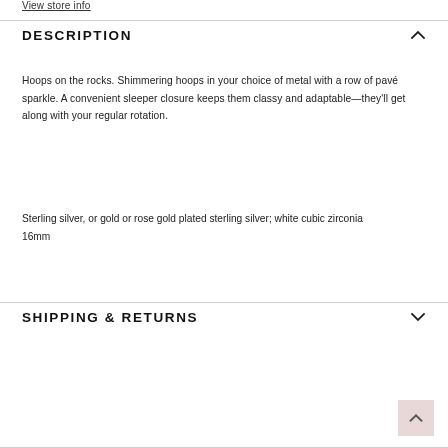View store info
DESCRIPTION
Hoops on the rocks. Shimmering hoops in your choice of metal with a row of pavé sparkle. A convenient sleeper closure keeps them classy and adaptable—they'll get along with your regular rotation.
Sterling silver, or gold or rose gold plated sterling silver; white cubic zirconia
16mm
SHIPPING & RETURNS